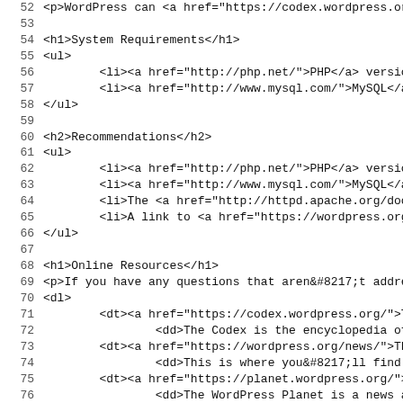52  <p>WordPress can <a href="https://codex.wordpress.org/M
53
54  <h1>System Requirements</h1>
55  <ul>
56          <li><a href="http://php.net/">PHP</a> version <
57          <li><a href="http://www.mysql.com/">MySQL</a> v
58  </ul>
59
60  <h2>Recommendations</h2>
61  <ul>
62          <li><a href="http://php.net/">PHP</a> version <
63          <li><a href="http://www.mysql.com/">MySQL</a> v
64          <li>The <a href="http://httpd.apache.org/docs/2
65          <li>A link to <a href="https://wordpress.org/">
66  </ul>
67
68  <h1>Online Resources</h1>
69  <p>If you have any questions that aren&#8217;t addresse
70  <dl>
71          <dt><a href="https://codex.wordpress.org/">The
72                  <dd>The Codex is the encyclopedia of al
73          <dt><a href="https://wordpress.org/news/">The W
74                  <dd>This is where you&#8217;ll find the
75          <dt><a href="https://planet.wordpress.org/">Wor
76                  <dd>The WordPress Planet is a news aggr
77          <dt><a href="https://wordpress.org/support/">Wo
78                  <dd>If you&#8217;ve looked everywhere a
79          <dt><a href="https://codex.wordpress.org/IRC">W
80                  <dd>There is an online chat channel tha
81  </dl>
82
83  <h1>Final Notes</h1>